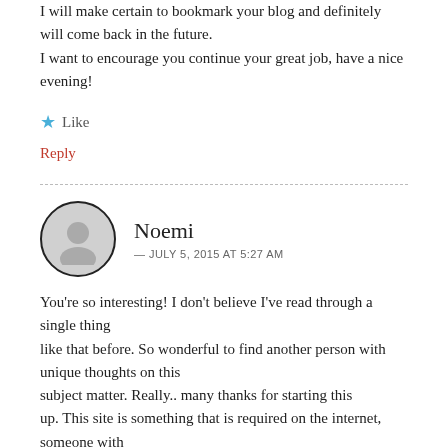I will make certain to bookmark your blog and definitely will come back in the future.
I want to encourage you continue your great job, have a nice evening!
★ Like
Reply
Noemi
— JULY 5, 2015 AT 5:27 AM
You're so interesting! I don't believe I've read through a single thing like that before. So wonderful to find another person with unique thoughts on this subject matter. Really.. many thanks for starting this up. This site is something that is required on the internet, someone with